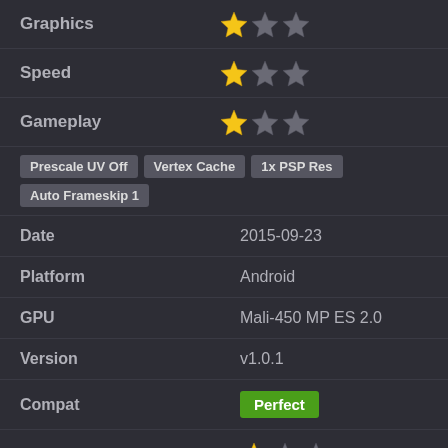Graphics — 1 out of 3 stars
Speed — 1 out of 3 stars
Gameplay — 1 out of 3 stars
Tags: Prescale UV Off, Vertex Cache, 1x PSP Res, Auto Frameskip 1
| Field | Value |
| --- | --- |
| Date | 2015-09-23 |
| Platform | Android |
| GPU | Mali-450 MP ES 2.0 |
| Version | v1.0.1 |
| Compat | Perfect |
| Graphics | 1 out of 3 stars |
| Speed | 1 out of 3 stars |